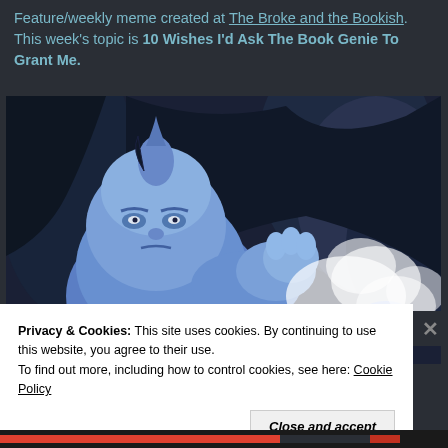Feature/weekly meme created at The Broke and the Bookish. This week's topic is 10 Wishes I'd Ask The Book Genie To Grant Me.
[Figure (photo): Animated scene from Disney's Aladdin showing the blue Genie character against a dark rocky background with smoke/clouds]
Privacy & Cookies: This site uses cookies. By continuing to use this website, you agree to their use.
To find out more, including how to control cookies, see here: Cookie Policy
Close and accept